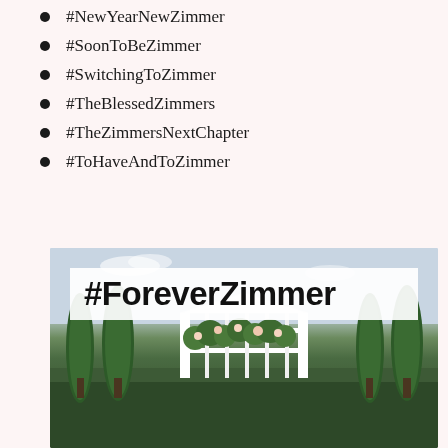#NewYearNewZimmer
#SoonToBeZimmer
#SwitchingToZimmer
#TheBlessedZimmers
#TheZimmersNextChapter
#ToHaveAndToZimmer
[Figure (photo): Wedding venue outdoor scene with tall cypress trees and a white floral gazebo/arch decorated with greenery and flowers, with a large '#ForeverZimmer' hashtag banner overlay at the top of the image]